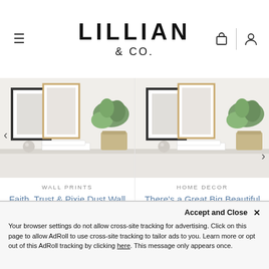LILLIAN & CO.
[Figure (photo): Left product shelf photo with framed art, plant, and decorative items]
WALL PRINTS
Faith, Trust & Pixie Dust Wall Print
$19.00 – $39.00
or 4 payments as low as $4.75 with afterpay
[Figure (photo): Right product shelf photo with framed art, plant, and decorative items]
HOME DECOR
There's a Great Big Beautiful Tomorrow Wall Print
$19.00 – $39.00
or 4 payments as low as $4.75 with afterpay
Accept and Close ×
Your browser settings do not allow cross-site tracking for advertising. Click on this page to allow AdRoll to use cross-site tracking to tailor ads to you. Learn more or opt out of this AdRoll tracking by clicking here. This message only appears once.